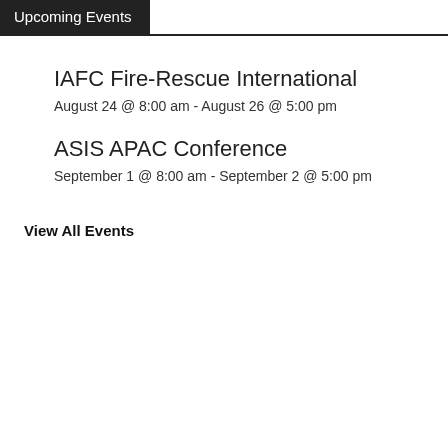Upcoming Events
IAFC Fire-Rescue International
August 24 @ 8:00 am - August 26 @ 5:00 pm
ASIS APAC Conference
September 1 @ 8:00 am - September 2 @ 5:00 pm
View All Events